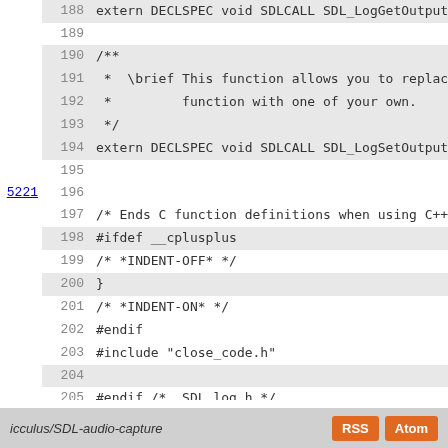[Figure (screenshot): Source code viewer showing C header file lines 188-207 with line numbers, reference links, and alternating highlighted rows. Code includes SDL_LogGetOutput, SDL_LogSetOutput function declarations, C++ guard macros, and preprocessor directives.]
icculus/SDL-audio-capture  RSS  Atom